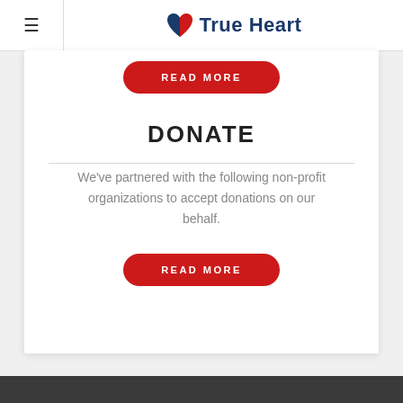True Heart
READ MORE
DONATE
We've partnered with the following non-profit organizations to accept donations on our behalf.
READ MORE